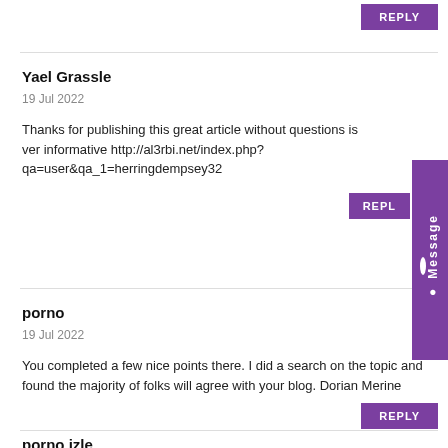REPLY
Yael Grassle
19 Jul 2022
Thanks for publishing this great article without questions is very informative http://al3rbi.net/index.php?qa=user&qa_1=herringdempsey32
REPLY
porno
19 Jul 2022
You completed a few nice points there. I did a search on the topic and found the majority of folks will agree with your blog. Dorian Merine
REPLY
porno izle